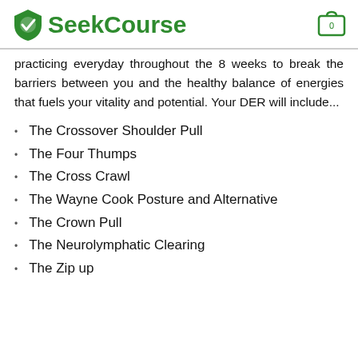SeekCourse
practicing everyday throughout the 8 weeks to break the barriers between you and the healthy balance of energies that fuels your vitality and potential. Your DER will include...
The Crossover Shoulder Pull
The Four Thumps
The Cross Crawl
The Wayne Cook Posture and Alternative
The Crown Pull
The Neurolymphatic Clearing
The Zip up